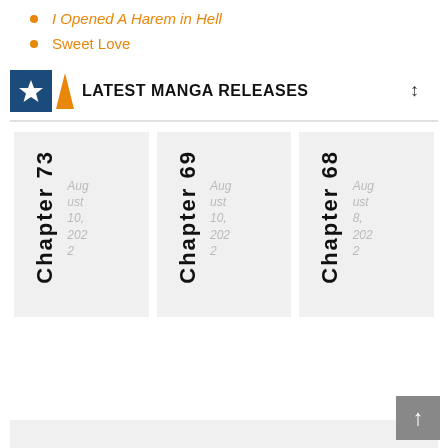I Opened A Harem in Hell
Sweet Love
LATEST MANGA RELEASES
Chapter 73 — August 10, 2022
Chapter 69 — August 10, 2022
Chapter 68 — August 8, 2022